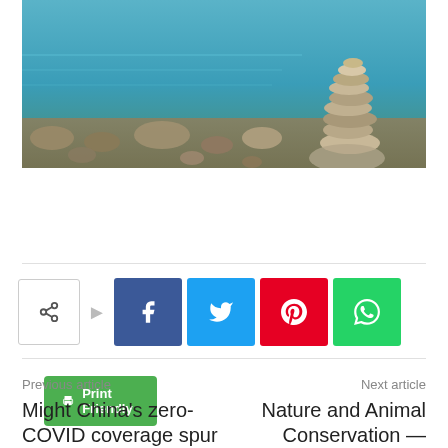[Figure (photo): Stacked balancing stones/pebbles on a rocky beach with blue ocean water in the background]
Print Friendly
[Figure (infographic): Social share buttons row: share icon, Facebook (f), Twitter (bird), Pinterest (P), WhatsApp (phone)]
Previous article
Might China's zero-COVID coverage spur a mass
Next article
Nature and Animal Conservation — International